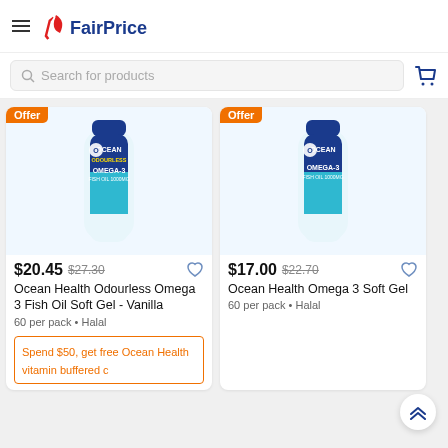FairPrice
Search for products
[Figure (screenshot): Product card: Ocean Health Odourless Omega 3 Fish Oil Soft Gel - Vanilla, $20.45 (was $27.30), 60 per pack, Halal, Offer badge]
[Figure (screenshot): Product card: Ocean Health Omega 3 Soft Gel, $17.00 (was $22.70), 60 per pack, Halal, Offer badge]
Spend $50, get free Ocean Health vitamin buffered c